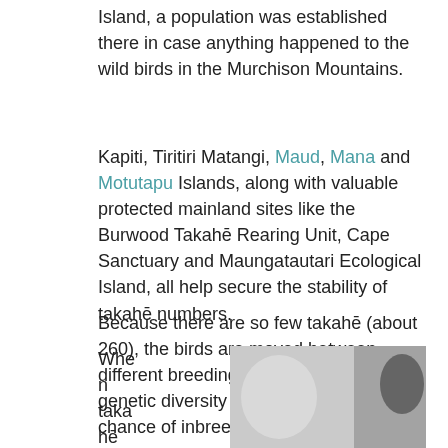Island, a population was established there in case anything happened to the wild birds in the Murchison Mountains.
Kapiti, Tiritiri Matangi, Maud, Mana and Motutapu Islands, along with valuable protected mainland sites like the Burwood Takahē Rearing Unit, Cape Sanctuary and Maungatautari Ecological Island, all help secure the stability of takahē numbers.
Because there are so few takahē (about 260), the birds are moved between different breeding sites to increase genetic diversity and decrease the chance of inbreeding.
When takahē are trans lact
[Figure (photo): A photograph showing what appears to be a takahē bird being transported, visible inside what looks like an aircraft or transport vehicle interior with a window visible.]